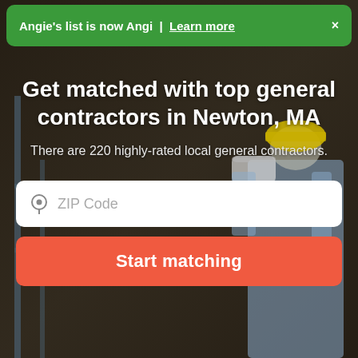[Figure (screenshot): Dark construction worker hero background image showing a person in a hard hat holding blueprints]
Angie's list is now Angi | Learn more ×
Get matched with top general contractors in Newton, MA
There are 220 highly-rated local general contractors.
ZIP Code
Start matching